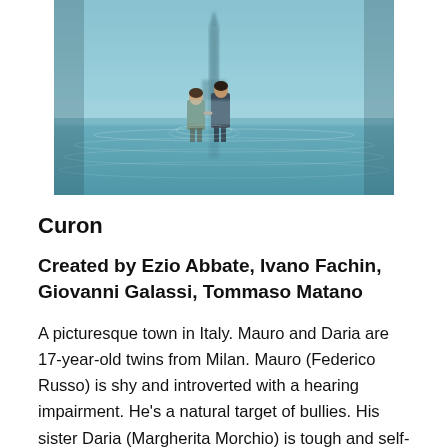[Figure (photo): Two figures standing in shallow water holding hands, viewed from behind. Moody teal/blue atmospheric scene with a partially submerged structure visible in the background. Show art for the TV series Curon.]
Curon
Created by Ezio Abbate, Ivano Fachin, Giovanni Galassi, Tommaso Matano
A picturesque town in Italy. Mauro and Daria are 17-year-old twins from Milan. Mauro (Federico Russo) is shy and introverted with a hearing impairment. He's a natural target of bullies. His sister Daria (Margherita Morchio) is tough and self-confident. She's sexually adventurous, can out-drink anyone she meets, and will likely win in a fistfight. She also has the courage to be kind. There are rumors…